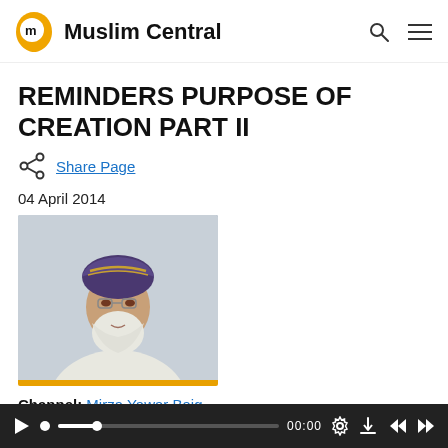Muslim Central
REMINDERS PURPOSE OF CREATION PART II
Share Page
04 April 2014
[Figure (photo): Portrait photo of Mirza Yawar Baig, an elderly man with a white beard wearing a purple and gold traditional turban and white clothing]
Channel: Mirza Yawar Baig
[Figure (screenshot): Audio/video player bar with play button, progress track, time display 00:00, and control icons for settings, download, and navigation]